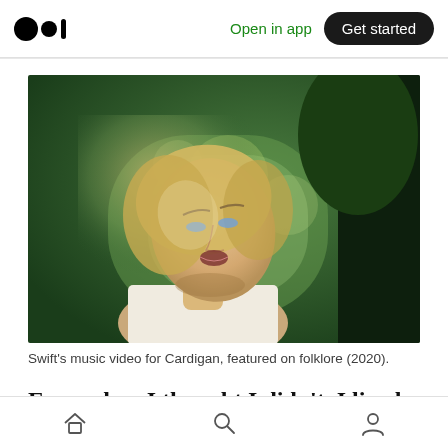Medium logo | Open in app | Get started
[Figure (photo): Young woman with blonde hair looking upward in a lush green forest setting, wearing a white tank top. Still from Taylor Swift's Cardigan music video.]
Swift's music video for Cardigan, featured on folklore (2020).
Even when I thought I didn't, I lived in a golden
Home | Search | Profile icons